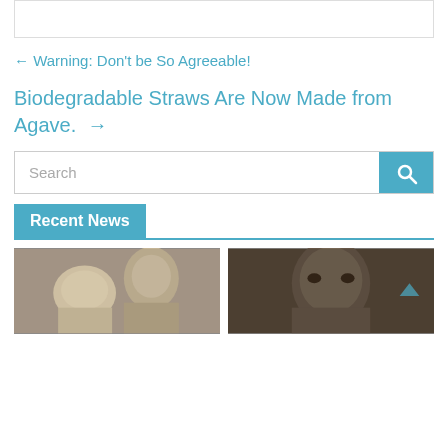← Warning: Don't be So Agreeable!
Biodegradable Straws Are Now Made from Agave. →
Search
Recent News
[Figure (photo): Two photos side by side: left shows a blonde woman and grey-haired man, right shows a Black man's face close-up]